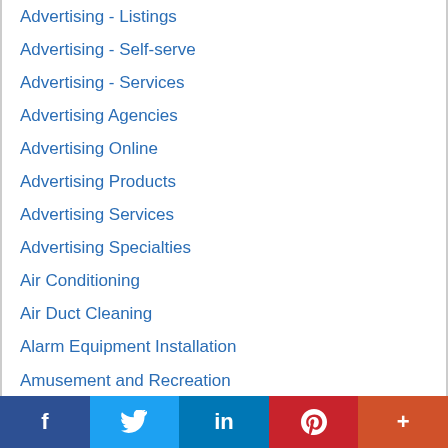Advertising - Listings
Advertising - Self-serve
Advertising - Services
Advertising Agencies
Advertising Online
Advertising Products
Advertising Services
Advertising Specialties
Air Conditioning
Air Duct Cleaning
Alarm Equipment Installation
Amusement and Recreation
Antique Restoration
Apartment Building
f  Twitter  in  Pinterest  +